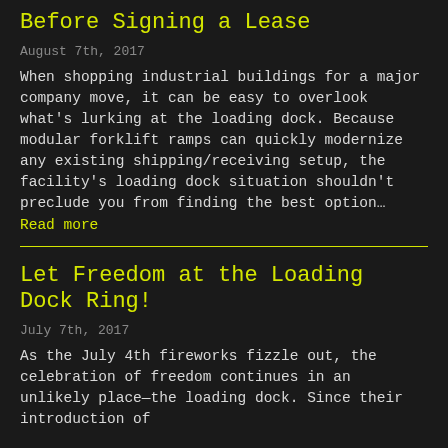Before Signing a Lease
August 7th, 2017
When shopping industrial buildings for a major company move, it can be easy to overlook what’s lurking at the loading dock. Because modular forklift ramps can quickly modernize any existing shipping/receiving setup, the facility’s loading dock situation shouldn’t preclude you from finding the best option… Read more
Let Freedom at the Loading Dock Ring!
July 7th, 2017
As the July 4th fireworks fizzle out, the celebration of freedom continues in an unlikely place—the loading dock. Since their introduction of